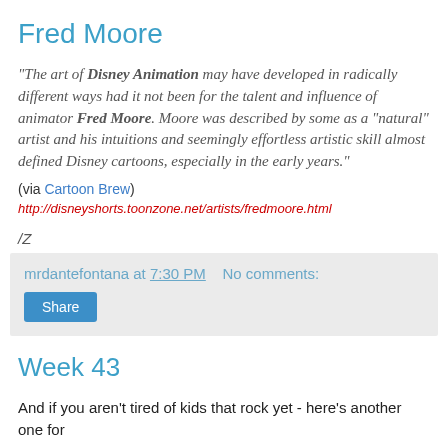Fred Moore
"The art of Disney Animation may have developed in radically different ways had it not been for the talent and influence of animator Fred Moore. Moore was described by some as a "natural" artist and his intuitions and seemingly effortless artistic skill almost defined Disney cartoons, especially in the early years."
(via Cartoon Brew)
http://disneyshorts.toonzone.net/artists/fredmoore.html
/Z
mrdantefontana at 7:30 PM   No comments:
Share
Week 43
And if you aren't tired of kids that rock yet - here's another one for